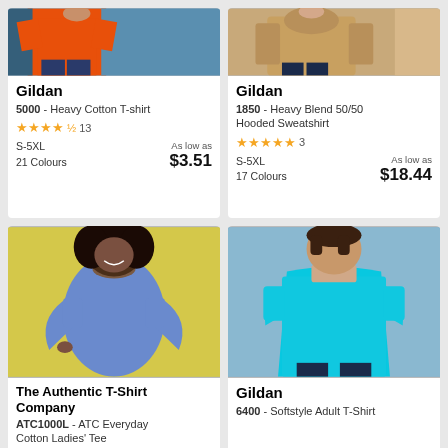[Figure (photo): Person wearing orange t-shirt against blue background, partial view]
Gildan
5000 - Heavy Cotton T-shirt
★★★★½ 13
S-5XL
21 Colours
As low as
$3.51
[Figure (photo): Person wearing beige/tan top against tan background, partial view]
Gildan
1850 - Heavy Blend 50/50 Hooded Sweatshirt
★★★★★ 3
S-5XL
17 Colours
As low as
$18.44
[Figure (photo): Woman wearing purple/blue t-shirt against yellow background, smiling]
The Authentic T-Shirt Company
ATC1000L - ATC Everyday Cotton Ladies' Tee
[Figure (photo): Man wearing bright teal/turquoise t-shirt against grey-blue background]
Gildan
6400 - Softstyle Adult T-Shirt